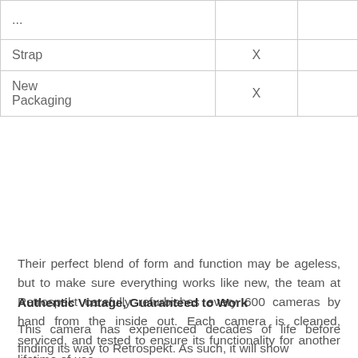| ... |  |  |
| Strap | X |  |
| New
Packaging | X |  |
Their perfect blend of form and function may be ageless, but to make sure everything works like new, the team at Retrospekt carefully refurbishes every 600 cameras by hand from the inside out. Each camera is cleaned, serviced, and tested to ensure its functionality for another lifetime of use.
Authentic Vintage, Guaranteed to Work
This camera has experienced decades of life before finding its way to Retrospekt. As such, it will show